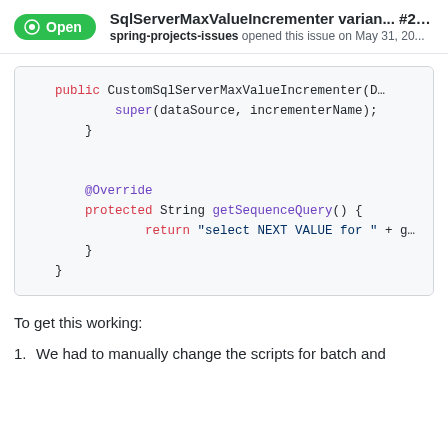SqlServerMaxValueIncrementer varian... #21425
spring-projects-issues opened this issue on May 31, 20...
[Figure (screenshot): Code block showing Java class CustomSqlServerMaxValueIncrementer with constructor calling super(dataSource, incrementerName) and overridden getSequenceQuery() method returning 'select NEXT VALUE for ' + g...]
To get this working:
1. We had to manually change the scripts for batch and